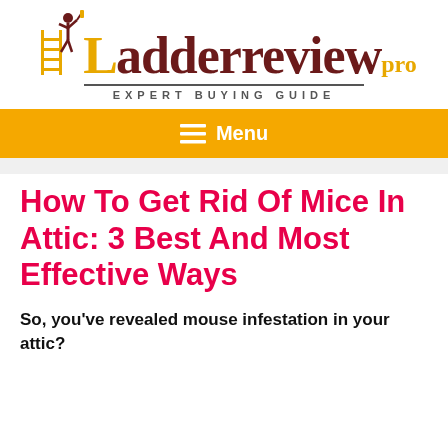[Figure (logo): LadderReview.pro logo with person on ladder graphic and 'Expert Buying Guide' tagline]
≡ Menu
How To Get Rid Of Mice In Attic: 3 Best And Most Effective Ways
So, you've revealed mouse infestation in your attic?